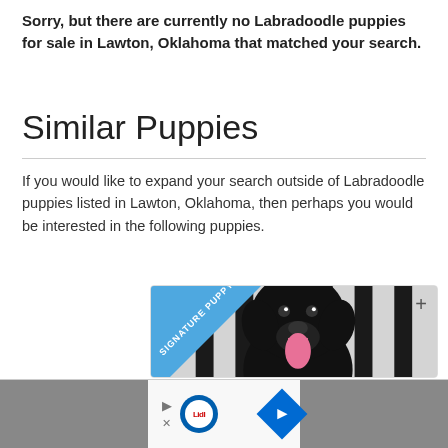Sorry, but there are currently no Labradoodle puppies for sale in Lawton, Oklahoma that matched your search.
Similar Puppies
If you would like to expand your search outside of Labradoodle puppies listed in Lawton, Oklahoma, then perhaps you would be interested in the following puppies.
[Figure (photo): A black Labradoodle puppy sitting in a striped chair with tongue out. A 'SIGNATURE PUPPY' diagonal ribbon badge is in the top-left corner.]
[Figure (screenshot): Advertisement bar at the bottom with Lidl logo, play and close icons on the left, and a blue diamond navigation arrow on the right, on a gray background.]